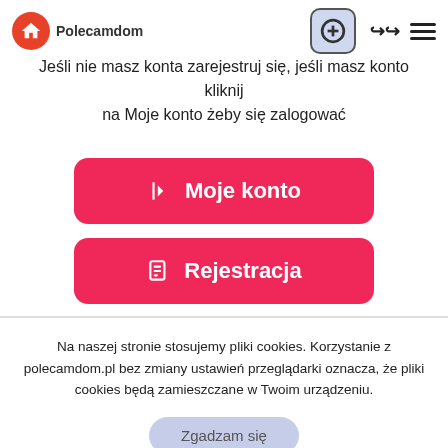Polecamdom
Jeśli nie masz konta zarejestruj się, jeśli masz konto kliknij na Moje konto żeby się zalogować
[Figure (screenshot): Pink button with login icon and text 'Moje konto']
[Figure (screenshot): Pink button with registration icon and text 'Rejestracja']
Na naszej stronie stosujemy pliki cookies. Korzystanie z polecamdom.pl bez zmiany ustawień przeglądarki oznacza, że pliki cookies będą zamieszczane w Twoim urządzeniu.
[Figure (screenshot): Gray-blue rounded button with text 'Zgadzam się']